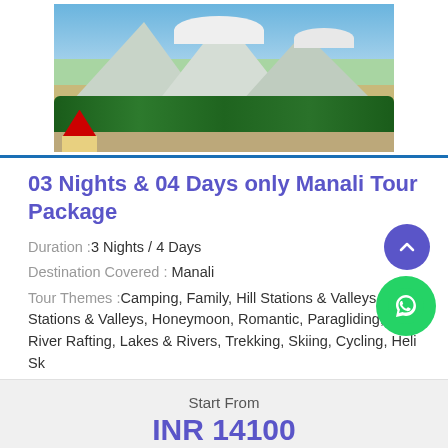[Figure (photo): Scenic mountain valley in Manali with snow-capped peaks, green forests, paraglider in sky, buildings with red roof in foreground, and tourists]
03 Nights & 04 Days only Manali Tour Package
Duration : 3 Nights / 4 Days
Destination Covered : Manali
Tour Themes : Camping, Family, Hill Stations & Valleys, Hill Stations & Valleys, Honeymoon, Romantic, Paragliding, River Rafting, Lakes & Rivers, Trekking, Skiing, Cycling, Heli Ski
Start From
INR 14100
Per Person